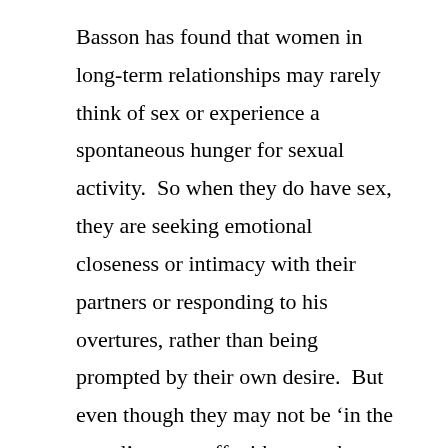Basson has found that women in long-term relationships may rarely think of sex or experience a spontaneous hunger for sexual activity.  So when they do have sex, they are seeking emotional closeness or intimacy with their partners or responding to his overtures, rather than being prompted by their own desire.  But even though they may not be ‘in the mood’ to start off with, once they start making love, these women often feel sexual sensations building, desire may start to click in and then they’ll want to continue.  The result is that they experience sexual pleasure and perhaps orgasm.  Provided there’s a ‘willingness to be receptive’, the rest follows, Basson advises.
While newspaper columnists and bloggists complain about this idea, I’ve been swamped with mail from men